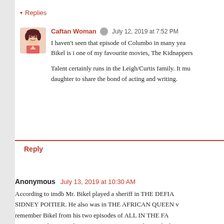▾ Replies
Caftan Woman  July 12, 2019 at 7:52 PM
I haven't seen that episode of Columbo in many years. Bikel is i one of my favourite movies, The Kidnappers

Talent certainly runs in the Leigh/Curtis family. It mu daughter to share the bond of acting and writing.
Reply
Anonymous  July 13, 2019 at 10:30 AM
According to imdb Mr. Bikel played a sheriff in THE DEFIA SIDNEY POITIER. He also was in THE AFRICAN QUEEN v remember Bikel from his two episodes of ALL IN THE FA EDITH. On his second ep JEAN STAPLETON plays a dual ro the butcher is engaged to.
Reply